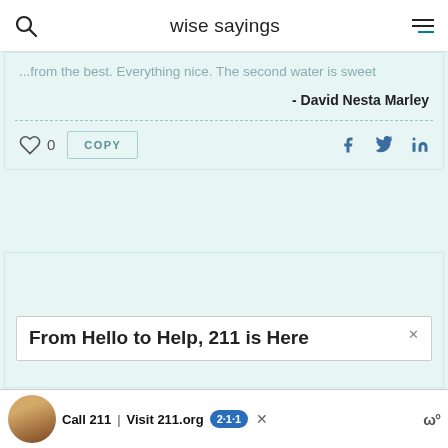wise sayings
...from the best. Everything nice. The second water is sweet
- David Nesta Marley
0  COPY  f  Twitter  in
[Figure (screenshot): Advertisement area showing '211 is Here' ad and bottom banner with Call 211 / Visit 211.org]